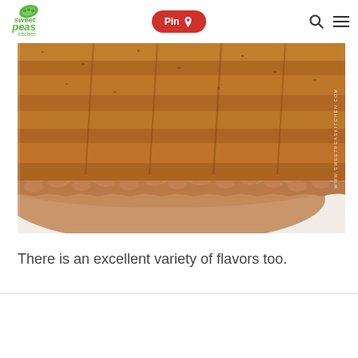Sweet Peas Kitchen — Pin | Search | Menu
[Figure (photo): Close-up photo of a baked pie with golden-brown filling and a scalloped/crimped pie crust edge, dusted with cinnamon sugar. The image has a watermark reading WWW.SWEETPEASKITCHEN.COM rotated vertically on the right side.]
There is an excellent variety of flavors too.